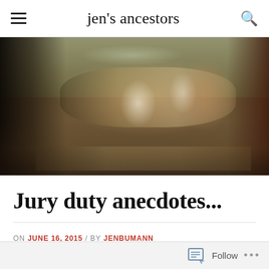jen's ancestors
[Figure (photo): An old photograph of a large group of people, adults and children, gathered around a long outdoor dining table set in a garden or yard. People are dressed in formal attire; some wear white. Trees are visible in the background. The photo has a vintage, faded quality.]
Jury duty anecdotes...
ON JUNE 16, 2015  /  BY JENBUMANN
[Figure (other): Follow bar at the bottom with a Follow button and ellipsis menu]